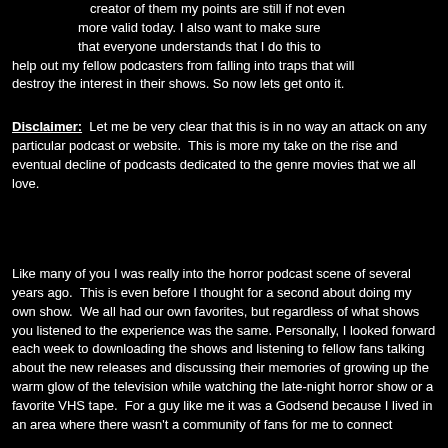creator of them my points are still if not even more valid today. I also want to make sure that everyone understands that I do this to help out my fellow podcasters from falling into traps that will destroy the interest in their shows. So now lets get onto it.
Disclaimer: Let me be very clear that this is in no way an attack on any particular podcast or website. This is more my take on the rise and eventual decline of podcasts dedicated to the genre movies that we all love.
Like many of you I was really into the horror podcast scene of several years ago. This is even before I thought for a second about doing my own show. We all had our own favorites, but regardless of what shows you listened to the experience was the same. Personally, I looked forward each week to downloading the shows and listening to fellow fans talking about the new releases and discussing their memories of growing up the warm glow of the television while watching the late-night horror show or a favorite VHS tape. For a guy like me it was a Godsend because I lived in an area where there wasn't a community of fans for me to connect